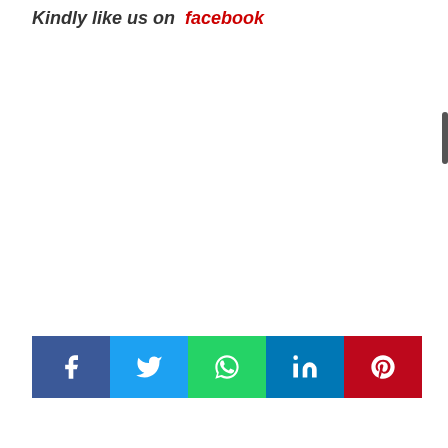Kindly like us on facebook
[Figure (infographic): Social media share buttons row: Facebook (blue), Twitter (light blue), WhatsApp (green), LinkedIn (blue), Pinterest (red), each with white icon]